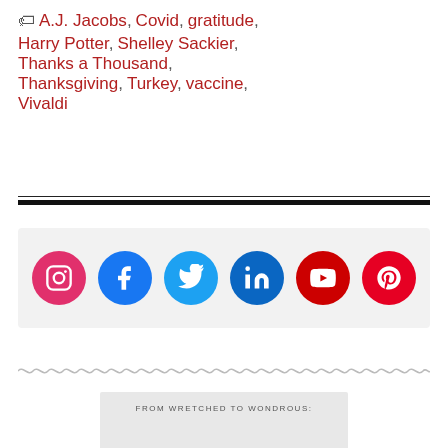🏷 A.J. Jacobs, Covid, gratitude, Harry Potter, Shelley Sackier, Thanks a Thousand, Thanksgiving, Turkey, vaccine, Vivaldi
[Figure (infographic): Six social media icon buttons in circles: Instagram (magenta), Facebook (blue), Twitter (light blue), LinkedIn (dark blue), YouTube (red), Pinterest (red)]
FROM WRETCHED TO WONDROUS: